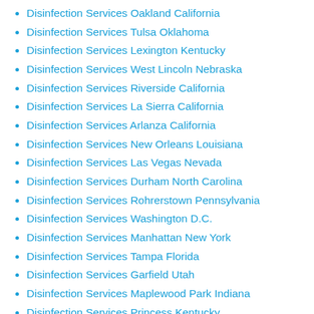Disinfection Services Oakland California
Disinfection Services Tulsa Oklahoma
Disinfection Services Lexington Kentucky
Disinfection Services West Lincoln Nebraska
Disinfection Services Riverside California
Disinfection Services La Sierra California
Disinfection Services Arlanza California
Disinfection Services New Orleans Louisiana
Disinfection Services Las Vegas Nevada
Disinfection Services Durham North Carolina
Disinfection Services Rohrerstown Pennsylvania
Disinfection Services Washington D.C.
Disinfection Services Manhattan New York
Disinfection Services Tampa Florida
Disinfection Services Garfield Utah
Disinfection Services Maplewood Park Indiana
Disinfection Services Princess Kentucky